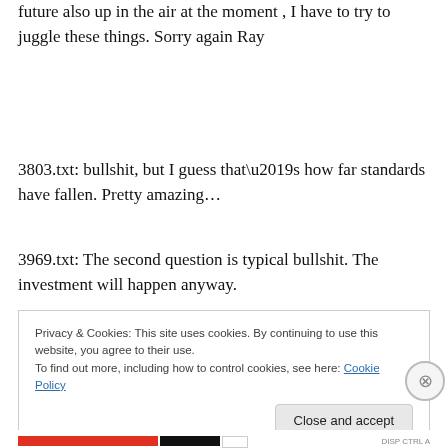future also up in the air at the moment , I have to try to juggle these things. Sorry again Ray
3803.txt: bullshit, but I guess that’s how far standards have fallen. Pretty amazing…
3969.txt: The second question is typical bullshit. The investment will happen anyway.
Privacy & Cookies: This site uses cookies. By continuing to use this website, you agree to their use.
To find out more, including how to control cookies, see here: Cookie Policy
Close and accept